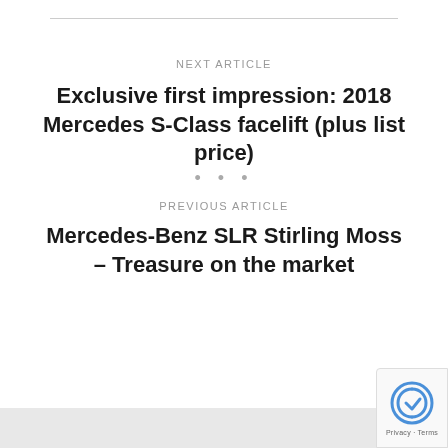NEXT ARTICLE
Exclusive first impression: 2018 Mercedes S-Class facelift (plus list price)
• • •
PREVIOUS ARTICLE
Mercedes-Benz SLR Stirling Moss – Treasure on the market